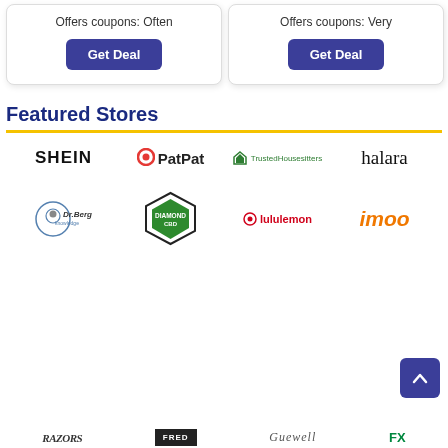Offers coupons: Often
Get Deal
Offers coupons: Very
Get Deal
Featured Stores
[Figure (logo): SHEIN logo]
[Figure (logo): PatPat logo]
[Figure (logo): TrustedHousesitters logo]
[Figure (logo): halara logo]
[Figure (logo): Dr. Berg logo]
[Figure (logo): Diamond CBD logo]
[Figure (logo): lululemon logo]
[Figure (logo): imoo logo]
[Figure (logo): Bottom row logos (partially visible)]